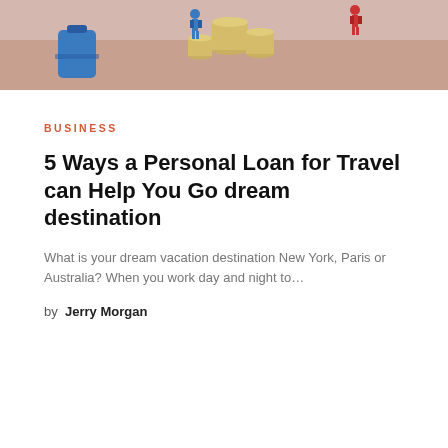[Figure (photo): Hero image showing miniature figurines of people standing on stacks of coins, with a blue suitcase/bag, on a pinkish-red textured surface.]
BUSINESS
5 Ways a Personal Loan for Travel can Help You Go dream destination
What is your dream vacation destination New York, Paris or Australia? When you work day and night to…
by Jerry Morgan